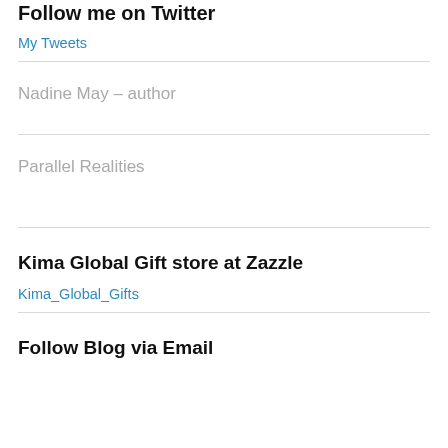Follow me on Twitter
My Tweets
Nadine May – author
Parallel Realities
Kima Global Gift store at Zazzle
Kima_Global_Gifts
Follow Blog via Email